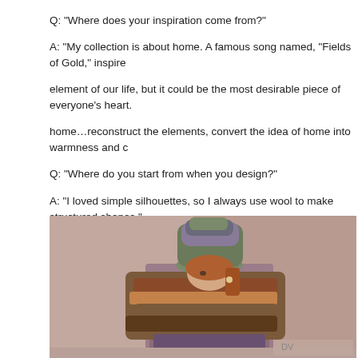Q: "Where does your inspiration come from?"
A: "My collection is about home. A famous song named, “Fields of Gold,” inspired element of our life, but it could be the most desirable piece of everyone’s heart. home…reconstruct the elements, convert the idea of home into warmness and c
Q: "Where do you start from when you design?"
A: "I loved simple silhouettes, so I always use wool to make structured shapes."
Q: "Do you have a message/purpose you want to give out from this collection?"
A: "I want to show more Eastern styles in the Western fashion field."

Austin has the ability to use simple structured shapes to express his concept, “R home. His simplicity not only brought coolness, but also brought peace, comfort
[Figure (photo): A fashion model on a runway wearing a tall knitted/wrapped hat in muted greens and purples, a large chunky knitted scarf/wrap in brown and rust tones, and a floral long dress underneath. The background is a soft taupe/blush color with event branding visible at the bottom right.]